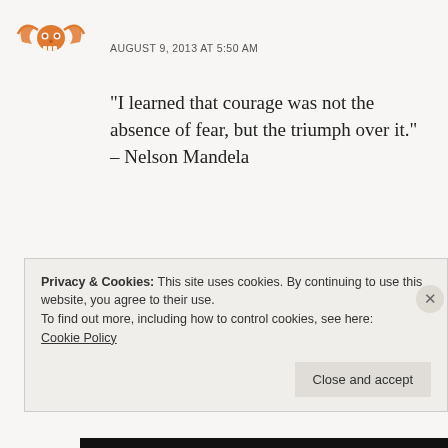[Figure (logo): Orange/brown decorative skull-wings logo icon]
AUGUST 9, 2013 AT 5:50 AM
“I learned that courage was not the absence of fear, but the triumph over it.” – Nelson Mandela
The hurdle is creating the doubt which is creating a fear. Rest assured your triumph is just around the cornerI. Press forward!
Privacy & Cookies: This site uses cookies. By continuing to use this website, you agree to their use.
To find out more, including how to control cookies, see here:
Cookie Policy
Close and accept